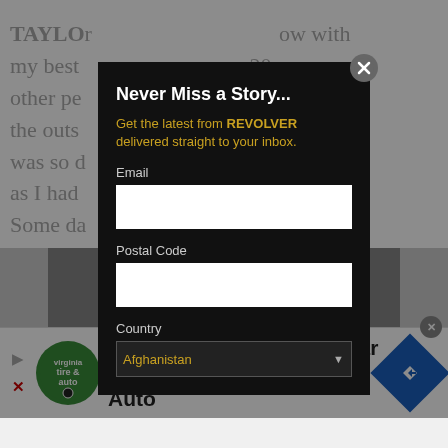TAYLOR ... ow with my best ... 20 other pe... from the outs... tage. It was so d... ch love as I had... ng, Some da...
[Figure (screenshot): Modal popup overlay on a webpage with dark background]
Never Miss a Story...
Get the latest from REVOLVER delivered straight to your inbox.
Email
Postal Code
Country
Afghanistan
[Figure (screenshot): Advertisement banner: Up To $75 Off on Goodyear Tires at Virginia Tire & Auto]